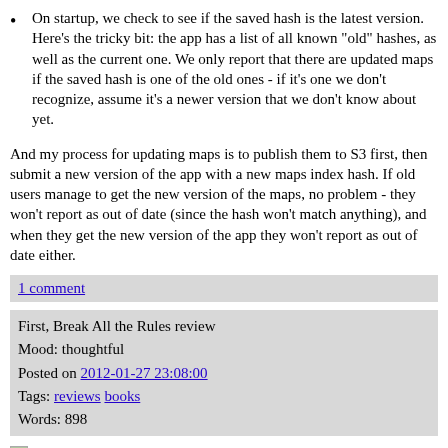On startup, we check to see if the saved hash is the latest version. Here's the tricky bit: the app has a list of all known "old" hashes, as well as the current one. We only report that there are updated maps if the saved hash is one of the old ones - if it's one we don't recognize, assume it's a newer version that we don't know about yet.
And my process for updating maps is to publish them to S3 first, then submit a new version of the app with a new maps index hash. If old users manage to get the new version of the maps, no problem - they won't report as out of date (since the hash won't match anything), and when they get the new version of the app they won't report as out of date either.
1 comment
First, Break All the Rules review
Mood: thoughtful
Posted on 2012-01-27 23:08:00
Tags: reviews books
Words: 898
First, Break All the Rules: What the World's Greatest Managers Do Differently